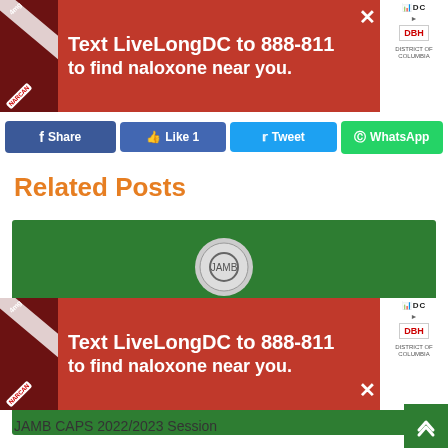[Figure (screenshot): Red advertisement banner: Text LiveLongDC to 888-811 to find naloxone near you. With DC Health (DBH) logo and close button.]
f Share   👍 Like 1   Tweet   WhatsApp
Related Posts
[Figure (screenshot): JAMB Central Admissions Processing System (CAPS) login page screenshot on green background showing logo, title text, and login form with username and password fields.]
[Figure (screenshot): Red advertisement banner (bottom): Text LiveLongDC to 888-811 to find naloxone near you.]
JAMB CAPS 2022/2023 Session